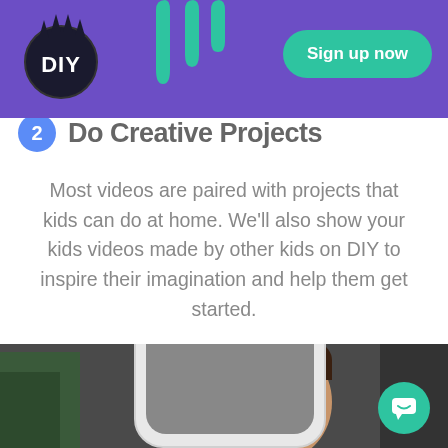[Figure (logo): DIY logo with bear paw and text DIY on purple background with green slime drip decoration and Sign up now button]
2 Do Creative Projects
Most videos are paired with projects that kids can do at home. We'll also show your kids videos made by other kids on DIY to inspire their imagination and help them get started.
[Figure (photo): Child looking at camera through phone screen mockup on a dark background, with teal chat bubble button overlay]